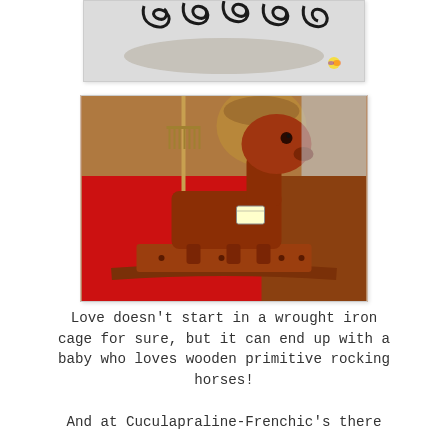[Figure (photo): Partial view of a wrought iron decorative piece on a light background, top portion only visible]
[Figure (photo): A wooden primitive rocking horse at a flea market or antique sale, made from dark reddish-brown reclaimed wood, with a round head and flat body on a curved rocker base, surrounded by other vintage items]
Love doesn't start in a wrought iron cage for sure, but it can end up with a baby who loves wooden primitive rocking horses!
And at Cuculapraline-Frenchic's there